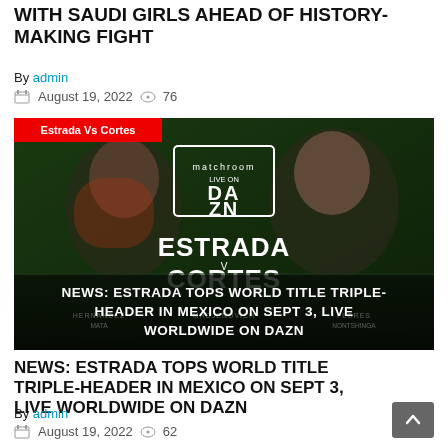WITH SAUDI GIRLS AHEAD OF HISTORY-MAKING FIGHT
By admin
August 19, 2022  76
[Figure (photo): Boxing promotional poster for Estrada Vs Cortes fight, live on DAZN via Matchroom, with overlay text: NEWS: ESTRADA TOPS WORLD TITLE TRIPLE-HEADER IN MEXICO ON SEPT 3, LIVE WORLDWIDE ON DAZN]
NEWS: ESTRADA TOPS WORLD TITLE TRIPLE-HEADER IN MEXICO ON SEPT 3, LIVE WORLDWIDE ON DAZN
By admin
August 19, 2022  62